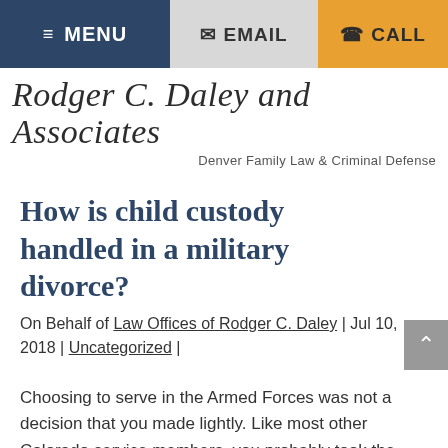≡ MENU | ✉ EMAIL | ☎ CALL
Rodger C. Daley and Associates
Denver Family Law & Criminal Defense
How is child custody handled in a military divorce?
On Behalf of Law Offices of Rodger C. Daley | Jul 10, 2018 | Uncategorized |
Choosing to serve in the Armed Forces was not a decision that you made lightly. Like most other Colorado service members, you probably took the